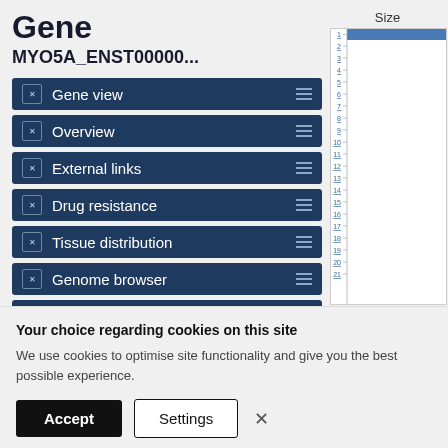Gene
MYO5A_ENST00000...
Gene view
Overview
External links
Drug resistance
Tissue distribution
Genome browser
Mutation distribution
[Figure (other): Vertical bar chart labeled 'Size' with y-axis showing chromosome numbers 1-21, blue bar at top]
Your choice regarding cookies on this site
We use cookies to optimise site functionality and give you the best possible experience.
Accept  Settings  ×